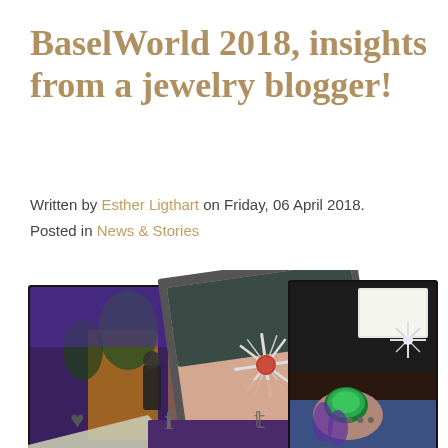BaselWorld 2018, insights from a jewelry blogger!
Written by Esther Ligthart on Friday, 06 April 2018. Posted in News & Stories
[Figure (photo): Collage of three jewelry photos from BaselWorld 2018: a stage/exhibit scene, a hand holding a diamond starburst brooch, and a hand wearing a large emerald ring with diamond jewelry on a display cloth]
♥  f  𝕥  •••